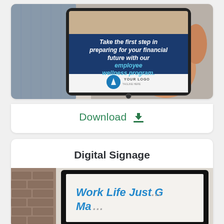[Figure (photo): Hands holding a tablet displaying a financial wellness program promotional slide with text 'Take the first step in preparing for your financial future with our employee wellness program.' on a dark blue background with a logo placeholder.]
Download ⬇
Digital Signage
[Figure (photo): A framed monitor/screen on a wall showing a presentation slide with text 'Work Life Just G... Ma...' in blue letters, partially visible.]